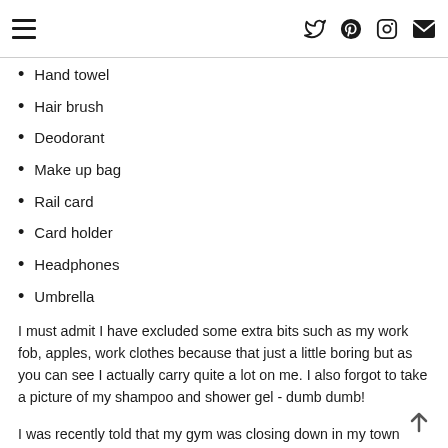≡  [twitter] [pinterest] [instagram] [email]
Hand towel
Hair brush
Deodorant
Make up bag
Rail card
Card holder
Headphones
Umbrella
I must admit I have excluded some extra bits such as my work fob, apples, work clothes because that just a little boring but as you can see I actually carry quite a lot on me. I also forgot to take a picture of my shampoo and shower gel - dumb dumb!
I was recently told that my gym was closing down in my town which was a little heartbreaking I'm not gonna lie and the way Virgin Active handled it was pretty bad actually. This means however I'll be joining a Fitness First gym in London which will